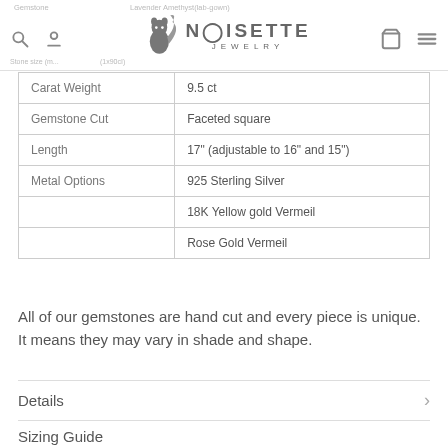Noisette Jewelry — Lavender Amethyst (lab-gown) product page header
| Property | Value |
| --- | --- |
| Carat Weight | 9.5 ct |
| Gemstone Cut | Faceted square |
| Length | 17" (adjustable to 16" and 15") |
| Metal Options | 925 Sterling Silver |
|  | 18K Yellow gold Vermeil |
|  | Rose Gold Vermeil |
All of our gemstones are hand cut and every piece is unique. It means they may vary in shade and shape.
Details
Sizing Guide